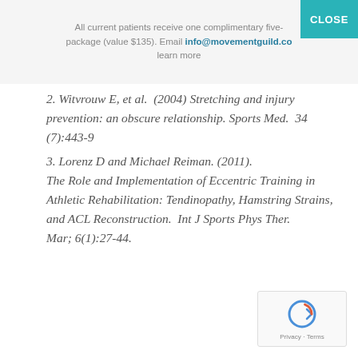All current patients receive one complimentary five-package (value $135). Email info@movementguild.co learn more
2. Witvrouw E, et al. (2004) Stretching and injury prevention: an obscure relationship. Sports Med. 34 (7):443-9
3. Lorenz D and Michael Reiman. (2011). The Role and Implementation of Eccentric Training in Athletic Rehabilitation: Tendinopathy, Hamstring Strains, and ACL Reconstruction. Int J Sports Phys Ther. Mar; 6(1):27-44.
[Figure (logo): reCAPTCHA badge with Privacy and Terms links]